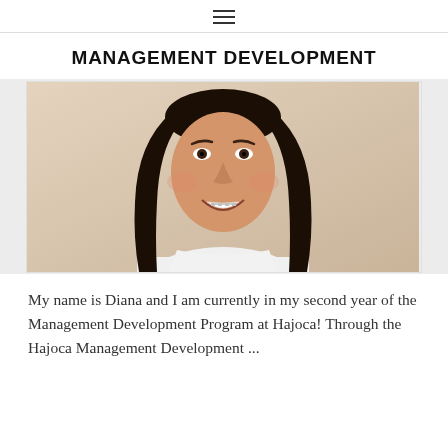≡
MANAGEMENT DEVELOPMENT
[Figure (photo): Portrait photo of a young woman with long dark hair and braces, smiling at the camera, wearing a white top, against a beige/cream background.]
My name is Diana and I am currently in my second year of the Management Development Program at Hajoca! Through the Hajoca Management Development ...